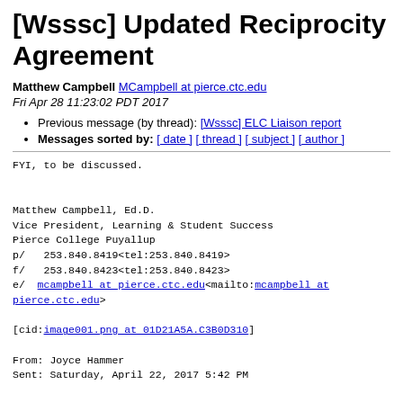[Wsssc] Updated Reciprocity Agreement
Matthew Campbell MCampbell at pierce.ctc.edu
Fri Apr 28 11:23:02 PDT 2017
Previous message (by thread): [Wsssc] ELC Liaison report
Messages sorted by: [ date ] [ thread ] [ subject ] [ author ]
FYI, to be discussed.

Matthew Campbell, Ed.D.
Vice President, Learning & Student Success
Pierce College Puyallup
p/   253.840.8419<tel:253.840.8419>
f/   253.840.8423<tel:253.840.8423>
e/  mcampbell at pierce.ctc.edu<mailto:mcampbell at pierce.ctc.edu>

[cid:image001.png at 01D21A5A.C3B0D310]

From: Joyce Hammer
Sent: Saturday, April 22, 2017 5:42 PM